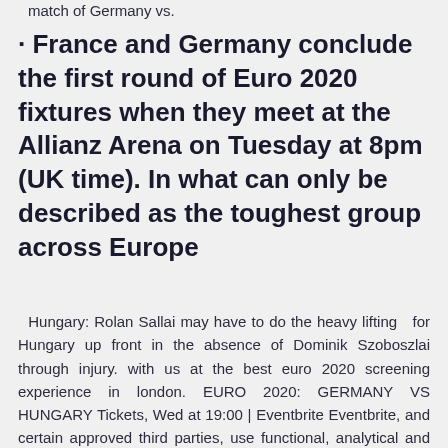match of Germany vs.
· France and Germany conclude the first round of Euro 2020 fixtures when they meet at the Allianz Arena on Tuesday at 8pm (UK time). In what can only be described as the toughest group across Europe
Hungary: Rolan Sallai may have to do the heavy lifting for Hungary up front in the absence of Dominik Szoboszlai through injury. with us at the best euro 2020 screening experience in london. EURO 2020: GERMANY VS HUNGARY Tickets, Wed at 19:00 | Eventbrite Eventbrite, and certain approved third parties, use functional, analytical and tracking cookies (or similar